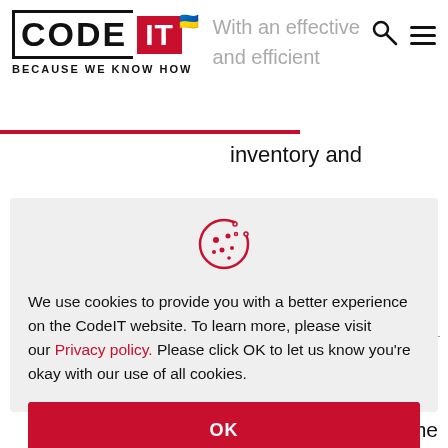CODE IT — BECAUSE WE KNOW HOW
With an effective and efficient inventory and warehouse management, retailers will be able
[Figure (screenshot): Cookie consent modal with cookie icon, text about cookies, privacy policy link, and OK button on a gray background]
route to reduce the